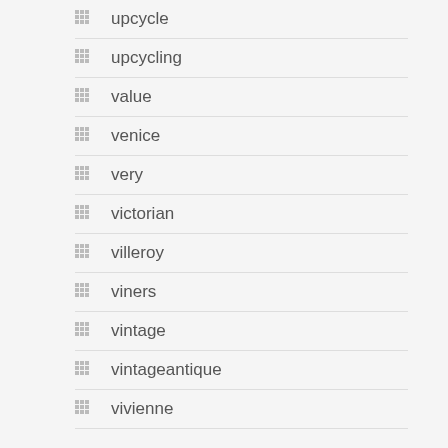upcycle
upcycling
value
venice
very
victorian
villeroy
viners
vintage
vintageantique
vivienne